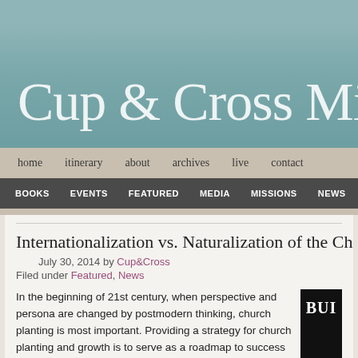Cup & Cross Mi...
home  itinerary  about  archives  live  contact
BOOKS  EVENTS  FEATURED  MEDIA  MISSIONS  NEWS
Internationalization vs. Naturalization of the Ch...
July 30, 2014 by Cup&Cross
Filed under Featured, News
In the beginning of 21st century, when perspective and persona are changed by postmodern thinking, church planting is most important. Providing a strategy for church planting and growth is to serve as a roadmap to success for Bulgarian church leaders and people who have dedicated their lives to making a difference within the community of believers. It is our prayer that such strategy becomes...